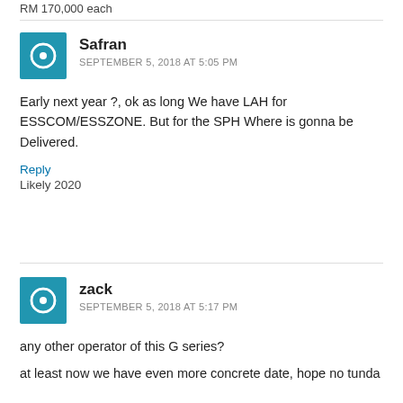RM 170,000 each
Safran
SEPTEMBER 5, 2018 AT 5:05 PM
Early next year ?, ok as long We have LAH for ESSCOM/ESSZONE. But for the SPH Where is gonna be Delivered.
Reply
Likely 2020
zack
SEPTEMBER 5, 2018 AT 5:17 PM
any other operator of this G series?
at least now we have even more concrete date, hope no tunda